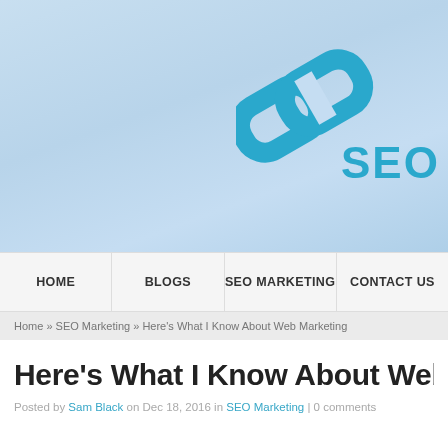[Figure (logo): SEO chain link logo with two interlocked rectangular chain links in teal/blue color and the text 'SEO' in teal below-right]
HOME | BLOGS | SEO MARKETING | CONTACT US
Home » SEO Marketing » Here's What I Know About Web Marketing
Here's What I Know About Web Mar…
Posted by Sam Black on Dec 18, 2016 in SEO Marketing | 0 comments